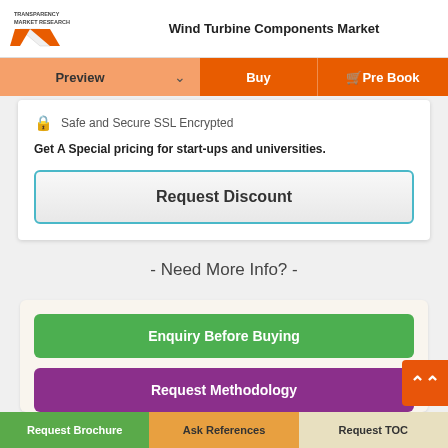Wind Turbine Components Market
Preview | Buy | Pre Book
Safe and Secure SSL Encrypted
Get A Special pricing for start-ups and universities.
Request Discount
- Need More Info? -
Enquiry Before Buying
Request Methodology
Request Brochure | Ask References | Request TOC